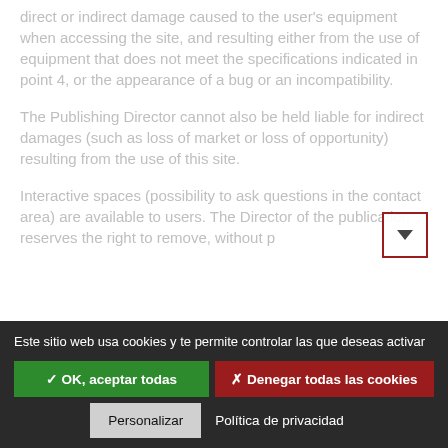direct or indirect damage caused to the user's equipment when accessing the site, and resulting either from the use of equipment that does not meet the specifications indicated in point 4, or the appearance of a bug or an incompatibility.
The Publishing Director cannot also be held liable for indirect damages (such as loss of market or loss of opportunity) resulting from the use of this site.
Interactive spaces (possibility to ask questions in the contact area) are available to users. The Director of the publication reserves the right to remove, without p...
Este sitio web usa cookies y te permite controlar las que deseas activar